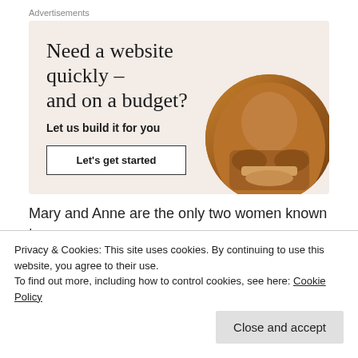Advertisements
[Figure (illustration): Advertisement banner with beige background. Large serif headline: 'Need a website quickly – and on a budget?' Subheadline: 'Let us build it for you'. Button: 'Let's get started'. Circular photo of a person working, cropped in circle on right side.]
Mary and Anne are the only two women known to
Privacy & Cookies: This site uses cookies. By continuing to use this website, you agree to their use.
To find out more, including how to control cookies, see here: Cookie Policy
Close and accept